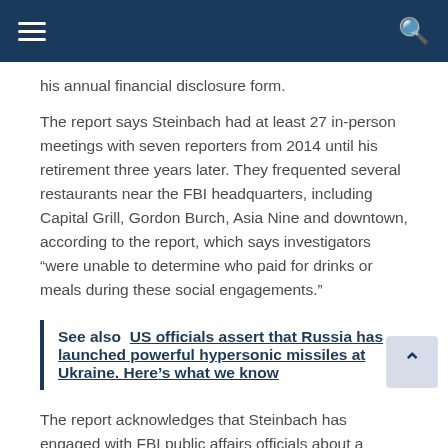Navigation bar with hamburger menu and search icon
his annual financial disclosure form.
The report says Steinbach had at least 27 in-person meetings with seven reporters from 2014 until his retirement three years later. They frequented several restaurants near the FBI headquarters, including Capital Grill, Gordon Burch, Asia Nine and downtown, according to the report, which says investigators “were unable to determine who paid for drinks or meals during these social engagements.”
See also  US officials assert that Russia has launched powerful hypersonic missiles at Ukraine. Here’s what we know
The report acknowledges that Steinbach has engaged with FBI public affairs officials about a “limited” number of interactions, but said that in many cases there are no records of any such coordination.